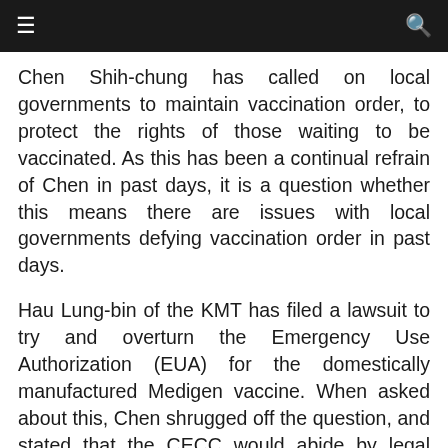≡  🔍
Chen Shih-chung has called on local governments to maintain vaccination order, to protect the rights of those waiting to be vaccinated. As this has been a continual refrain of Chen in past days, it is a question whether this means there are issues with local governments defying vaccination order in past days.
Hau Lung-bin of the KMT has filed a lawsuit to try and overturn the Emergency Use Authorization (EUA) for the domestically manufactured Medigen vaccine. When asked about this, Chen shrugged off the question, and stated that the CECC would abide by legal decisions.
Chen Shih-chung has received a death threat from a 26-year-old man, also surnamed Chen, threatening to kill him for lifting the level three alert on July 26th. The man has a history of death threats or threats of violence,